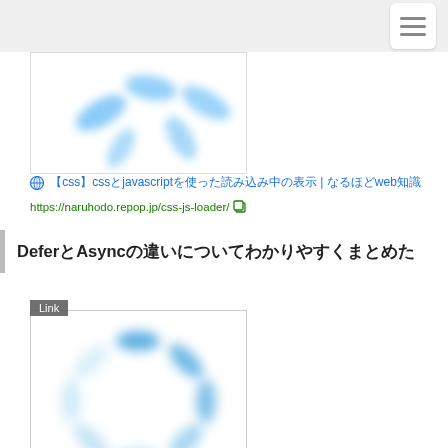[Figure (screenshot): Partial loading spinner image with blue blurred oval shapes]
🌐 【css】cssとjavascriptを使った読み込み中の表示 | なるほどweb知識
https://naruhodo.repop.jp/css-js-loader/
DeferとAsyncの違いについてわかりやすくまとめた
[Figure (screenshot): Loading spinner image with blue blurred oval shapes radiating from center]
🌐 Github - Suzunone/Prefetchloader: Read Static Content (css / Javascript / Image) As